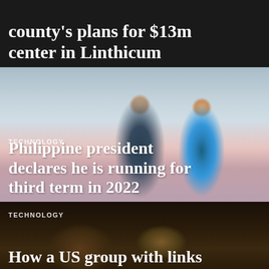county's plans for $13m center in Linthicum
[Figure (photo): Photo of Philippine president Rodrigo Duterte and his daughter Sara Duterte walking together, used as background for news article overlay]
TECHNOLOGY
Philippine president declares he is running for third term in 2022
[Figure (photo): Dark background photo, appears to show a hand or figure, used as background for news article overlay]
TECHNOLOGY
How a US group with links